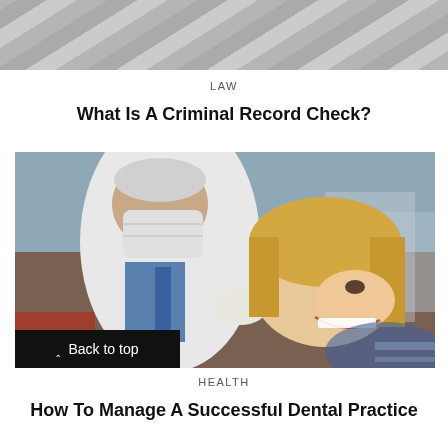[Figure (photo): Gray diagonal striped background, top portion of a previous article image]
LAW
What Is A Criminal Record Check?
[Figure (photo): A dentist wearing a white lab coat, blue tie, surgical mask and gloves examines a smiling blonde female patient's teeth using dental instruments]
HEALTH
How To Manage A Successful Dental Practice